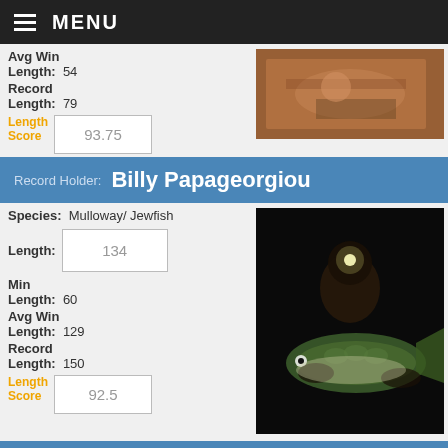MENU
Avg Win Length: 54
Record Length: 79
Length Score: 93.75
[Figure (photo): Person holding a fish on a boat, reddish/orange tones]
Record Holder: Billy Papageorgiou
Species: Mulloway/ Jewfish
Length: 134
Min Length: 60
Avg Win Length: 129
Record Length: 150
Length Score: 92.5
[Figure (photo): Person holding a large Mulloway/Jewfish fish at night with headlamp]
Record Holder: Tim Mutimer
Species: Murray Cod